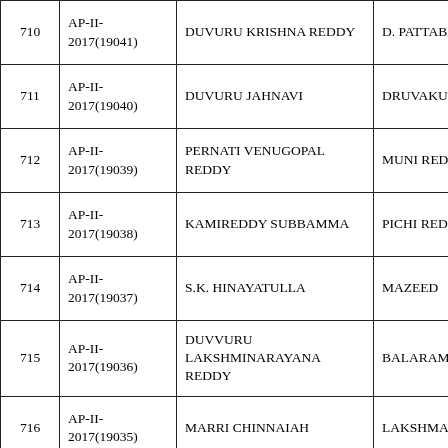| # | ID | Name | Parent/Guardian |
| --- | --- | --- | --- |
| 710 | AP-II-2017(19041) | DUVURU KRISHNA REDDY | D. PATTABH... |
| 711 | AP-II-2017(19040) | DUVURU JAHNAVI | DRUVAKUM... |
| 712 | AP-II-2017(19039) | PERNATI VENUGOPAL REDDY | MUNI REDD... |
| 713 | AP-II-2017(19038) | KAMIREDDY SUBBAMMA | PICHI REDD... |
| 714 | AP-II-2017(19037) | S.K. HINAYATULLA | MAZEED |
| 715 | AP-II-2017(19036) | DUVVURU LAKSHMINARAYANA REDDY | BALARAMI... |
| 716 | AP-II-2017(19035) | MARRI CHINNAIAH | LAKSHMAI... |